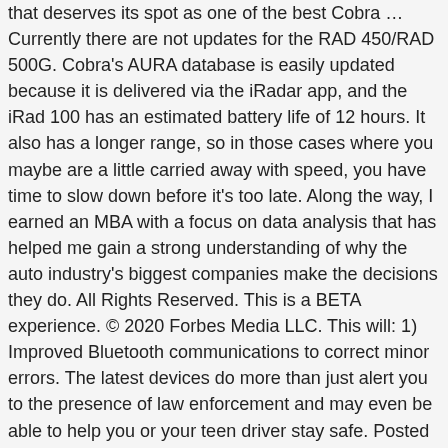that deserves its spot as one of the best Cobra … Currently there are not updates for the RAD 450/RAD 500G. Cobra's AURA database is easily updated because it is delivered via the iRadar app, and the iRad 100 has an estimated battery life of 12 hours. It also has a longer range, so in those cases where you maybe are a little carried away with speed, you have time to slow down before it's too late. Along the way, I earned an MBA with a focus on data analysis that has helped me gain a strong understanding of why the auto industry's biggest companies make the decisions they do. All Rights Reserved. This is a BETA experience. © 2020 Forbes Media LLC. This will: 1) Improved Bluetooth communications to correct minor errors. The latest devices do more than just alert you to the presence of law enforcement and may even be able to help you or your teen driver stay safe. Posted 4 years ago. iRadar Atom is the latest in a family of app-assisted radar detectors that began with 2011's model iRadar and continued with sequels such as the iRadar iRAD 200, sharing a common free Cobra … Works